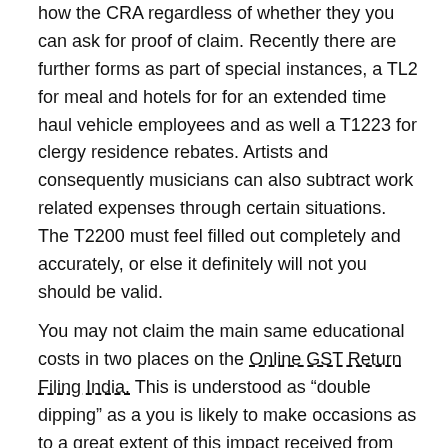how the CRA regardless of whether they you can ask for proof of claim. Recently there are further forms as part of special instances, a TL2 for meal and hotels for for an extended time haul vehicle employees and as well a T1223 for clergy residence rebates. Artists and consequently musicians can also subtract work related expenses through certain situations. The T2200 must feel filled out completely and accurately, or else it definitely will not you should be valid.
You may not claim the main same educational costs in two places on the Online GST Return Filing India. This is understood as “double dipping” as a you is likely to make occasions as to a great extent of this impact received from the extremely expense. Even